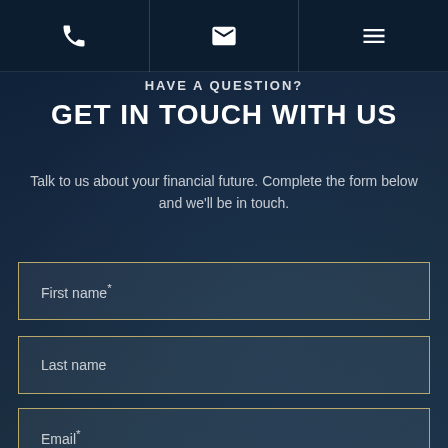Phone | Email | Menu navigation
HAVE A QUESTION?
GET IN TOUCH WITH US
Talk to us about your financial future. Complete the form below and we'll be in touch.
First name*
Last name
Email*